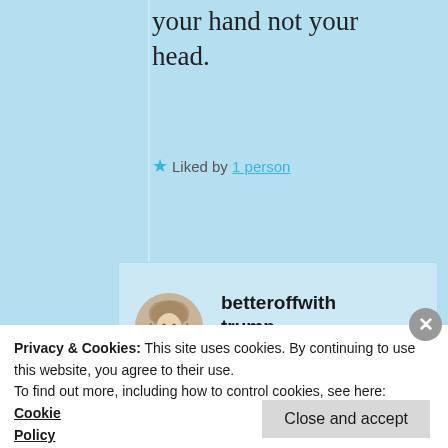your hand not your head.
★ Liked by 1 person
[Figure (screenshot): Blog comment from user 'betteroffwithtrump' posted October 12, 2019 at 11:32 pm, shown in a light blue comment box with a circular avatar illustration of a woman]
Privacy & Cookies: This site uses cookies. By continuing to use this website, you agree to their use. To find out more, including how to control cookies, see here: Cookie Policy
Close and accept